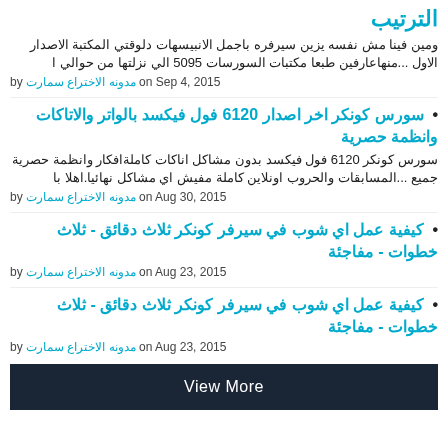الترتيب
ومين فينا مش نفسه يزين سيرفره باجمل الانبيسهات دلوقتي المكتبة الاصدار الاول ...منهاعارفين طبعا مكتبات السورسات 5095 الي نزلتها من حوالي ا
by مدونه الاختراع سمارت on Sep 4, 2015
سورس كونكر اخر اصدار 6120 فول فيكسد بالواتر والاتاكات وانظمة حصرية
سورس كونكر 6120 فول فيكسد بدون مشاكل اناكات كاملةافكار وانظمة حصرية جميع ...المسابقات والحروب اونلاين كاملة مفيش اي مشاكل نهائيا.اهلا با
by مدونه الاختراع سمارت on Aug 30, 2015
كيفية عمل اي شوب في سيرفر كونكر ثلاث دقائق - ثلاث خطوات - مفاجئة
by مدونه الاختراع سمارت on Aug 23, 2015
كيفية عمل اي شوب في سيرفر كونكر ثلاث دقائق - ثلاث خطوات - مفاجئة
by مدونه الاختراع سمارت on Aug 23, 2015
View More